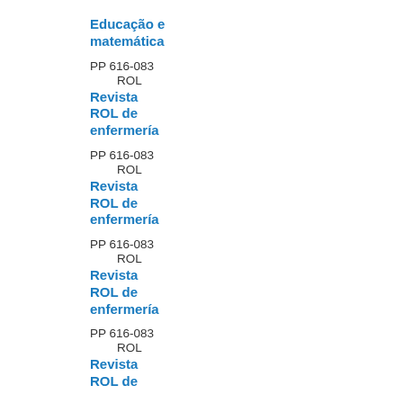Educação e matemática
PP 616-083
ROL
Revista ROL de enfermería
PP 616-083
ROL
Revista ROL de enfermería
PP 616-083
ROL
Revista ROL de enfermería
PP 616-083
ROL
Revista ROL de